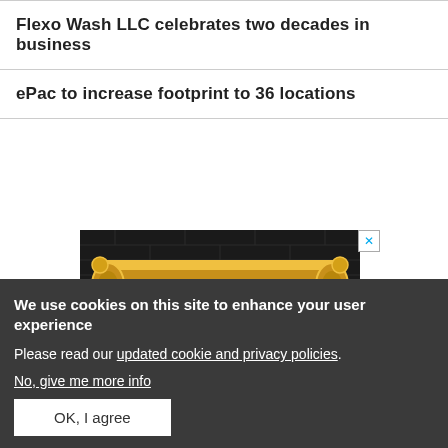Flexo Wash LLC celebrates two decades in business
ePac to increase footprint to 36 locations
[Figure (photo): Advertisement banner showing a golden ornate frame on a dark brick/stone background, with a close button (X) in the top right corner.]
We use cookies on this site to enhance your user experience
Please read our updated cookie and privacy policies.
No, give me more info
OK, I agree